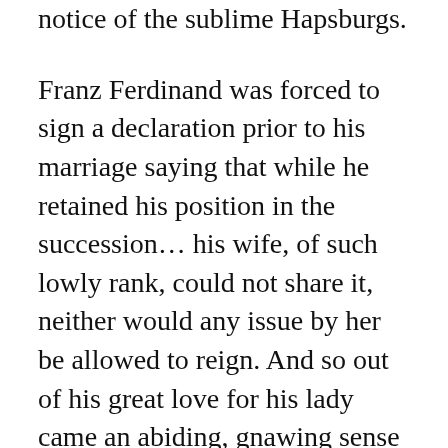notice of the sublime Hapsburgs.
Franz Ferdinand was forced to sign a declaration prior to his marriage saying that while he retained his position in the succession... his wife, of such lowly rank, could not share it, neither would any issue by her be allowed to reign. And so out of his great love for his lady came an abiding, gnawing sense of injustice, rage, and dishonor. Growing exquisite roses, collecting exquisite furniture, the tastes of an accomplished aesthete, did not begin to heal his anger and mortification. The humiliation was as calculated as 650 years of Hapsburg rule and unbending protocol could make it... she could never walk into any imperial function on his arm; she had to walk